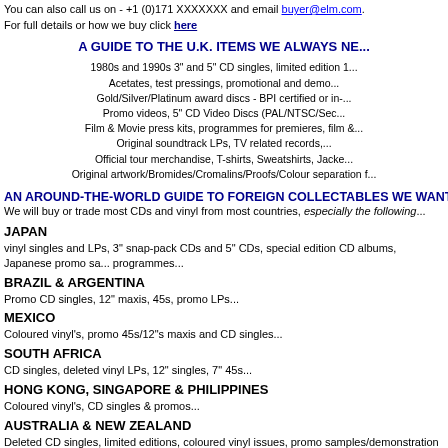You can also call us on - +1 (0)171 XXXXXXX and email buyer@elm.com.
For full details or how we buy click here
A GUIDE TO THE U.K. ITEMS WE ALWAYS NE...
1980s and 1990s 3" and 5" CD singles, limited edition 1...
Acetates, test pressings, promotional and demo...
Gold/Silver/Platinum award discs - BPI certified or in-...
Promo videos, 5" CD Video Discs (PAL/NTSC/Sec...
Film & Movie press kits, programmes for premieres, film &...
Original soundtrack LPs, TV related records,...
Official tour merchandise, T-shirts, Sweatshirts, Jacke...
Original artwork/Bromides/Cromalins/Proofs/Colour separation f...
AN AROUND-THE-WORLD GUIDE TO FOREIGN COLLECTABLES WE WANT TO...
We will buy or trade most CDs and vinyl from most countries, especially the following...
JAPAN
vinyl singles and LPs, 3" snap-pack CDs and 5" CDs, special edition CD albums, Japanese promo sa... programmes...
BRAZIL & ARGENTINA
Promo CD singles, 12" maxis, 45s, promo LPs...
MEXICO
Coloured vinyl's, promo 45s/12"s maxis and CD singles...
SOUTH AFRICA
CD singles, deleted vinyl LPs, 12" singles, 7" 45s...
HONG KONG, SINGAPORE & PHILIPPINES
Coloured vinyl's, CD singles & promos...
AUSTRALIA & NEW ZEALAND
Deleted CD singles, limited editions, coloured vinyl issues, promo samples/demonstration copies, 12"...
NORWAY, SWEDEN, DENMARK & FINLAND
Deleted CD singles, promotional copies, deleted 7" and 12" singles, original or deleted vinyl LPs...
GERMANY, HOLLAND, BELGIUM & ITALY
Deleted CD singles, promotional copies, limited editions, coloured vinyl's, 7" and 12" maxi singles, ori... box sets, picture discs...